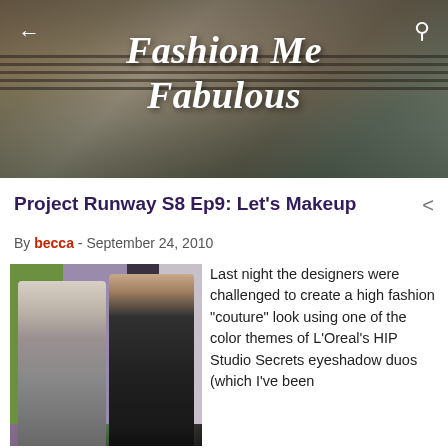Fashion Me Fabulous
Project Runway S8 Ep9: Let's Makeup
By becca - September 24, 2010
[Figure (photo): Two men standing together on a TV set with colorful background panels. One man in a grey suit with tie, one in a black shirt.]
Last night the designers were challenged to create a high fashion "couture" look using one of the color themes of L'Oreal's HIP Studio Secrets eyeshadow duos (which I've been